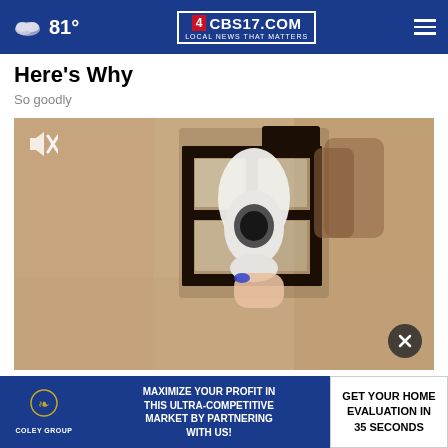81° CBS17.COM LOCAL NEWS THAT MATTERS
Here's Why
So goodly
[Figure (photo): Video thumbnail showing a person inserting a white smart bulb/camera into an outdoor lantern-style light fixture mounted on a stucco wall. A mute icon is visible in the top left corner and a close (X) button in the bottom right.]
Hom... for T... ns
[Figure (other): Advertisement banner for Coley Group: 'MAXIMIZE YOUR PROFIT IN THIS ULTRA-COMPETITIVE MARKET BY PARTNERING WITH US!' with a 'GET YOUR HOME EVALUATION IN 35 SECONDS' call to action button.]